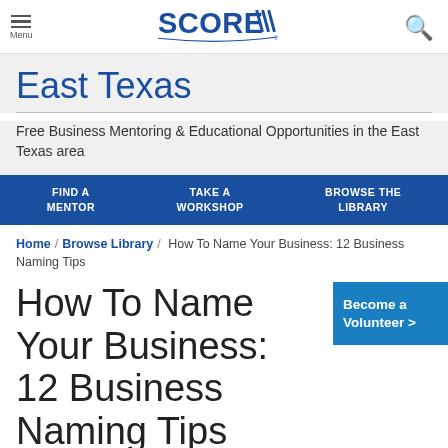Menu | SCORE | Search
East Texas
Free Business Mentoring & Educational Opportunities in the East Texas area
FIND A MENTOR | TAKE A WORKSHOP | BROWSE THE LIBRARY
Home / Browse Library / How To Name Your Business: 12 Business Naming Tips
How To Name Your Business: 12 Business Naming Tips
Become a Volunteer >
Brett Farmiloe - December 24, 2020